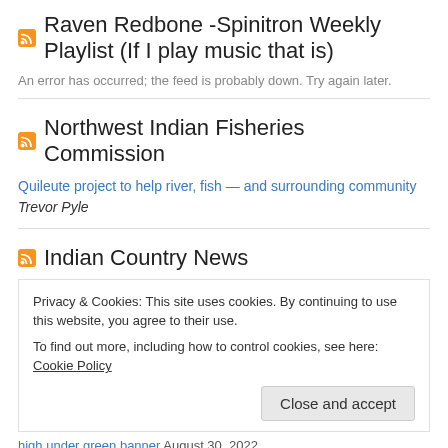Raven Redbone -Spinitron Weekly Playlist (If I play music that is)
An error has occurred; the feed is probably down. Try again later.
Northwest Indian Fisheries Commission
Quileute project to help river, fish — and surrounding community Trevor Pyle
Indian Country News
Privacy & Cookies: This site uses cookies. By continuing to use this website, you agree to their use.
To find out more, including how to control cookies, see here: Cookie Policy
Close and accept
high under green banner August 30, 2022